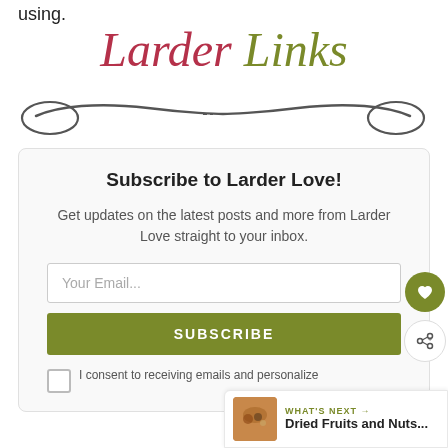using.
Larder Links
[Figure (illustration): Decorative hand-drawn spoon illustration]
Subscribe to Larder Love!
Get updates on the latest posts and more from Larder Love straight to your inbox.
Your Email...
SUBSCRIBE
I consent to receiving emails and personalize